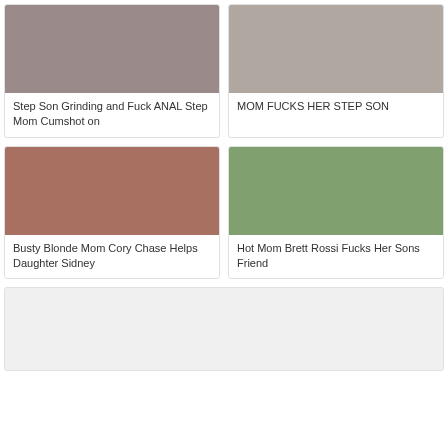[Figure (photo): Thumbnail image - adult content]
Step Son Grinding and Fuck ANAL Step Mom Cumshot on
[Figure (photo): Thumbnail image - adult content]
MOM FUCKS HER STEP SON
[Figure (photo): Thumbnail image showing a young man in plaid shirt and blonde woman in red]
Busty Blonde Mom Cory Chase Helps Daughter Sidney
[Figure (photo): Thumbnail image showing a woman in white and shirtless man outdoors]
Hot Mom Brett Rossi Fucks Her Sons Friend